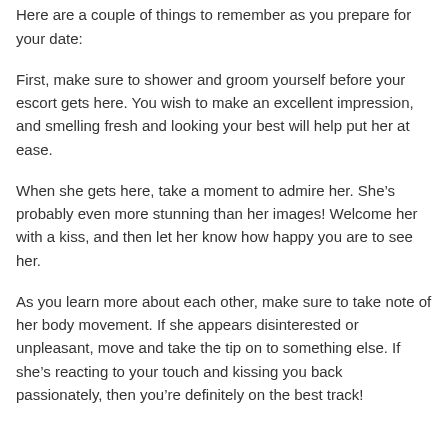erotic and awesome experiences of your life.
Here are a couple of things to remember as you prepare for your date:
First, make sure to shower and groom yourself before your escort gets here. You wish to make an excellent impression, and smelling fresh and looking your best will help put her at ease.
When she gets here, take a moment to admire her. She’s probably even more stunning than her images! Welcome her with a kiss, and then let her know how happy you are to see her.
As you learn more about each other, make sure to take note of her body movement. If she appears disinterested or unpleasant, move and take the tip on to something else. If she’s reacting to your touch and kissing you back passionately, then you’re definitely on the best track!